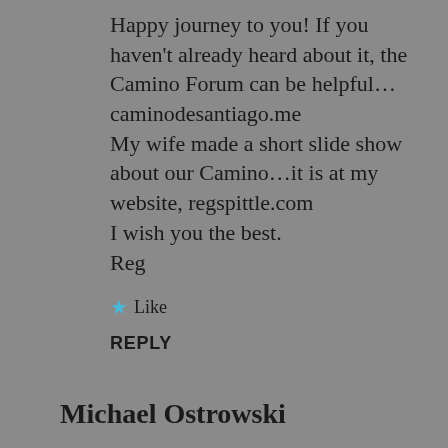Happy journey to you! If you haven't already heard about it, the Camino Forum can be helpful… caminodesantiago.me
My wife made a short slide show about our Camino…it is at my website, regspittle.com
I wish you the best.
Reg
★ Like
REPLY
Michael Ostrowski